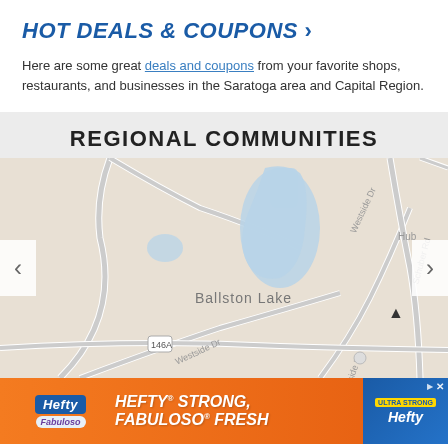HOT DEALS & COUPONS ›
Here are some great deals and coupons from your favorite shops, restaurants, and businesses in the Saratoga area and Capital Region.
REGIONAL COMMUNITIES
[Figure (map): Street map showing Ballston Lake area with roads including Westside Dr, route 146A, Schuber Rd. Blue lake shapes visible. Navigation arrows on left and right sides.]
[Figure (infographic): Hefty advertisement banner: HEFTY STRONG, FABULOSO FRESH with Hefty and Fabuloso logos on orange background]